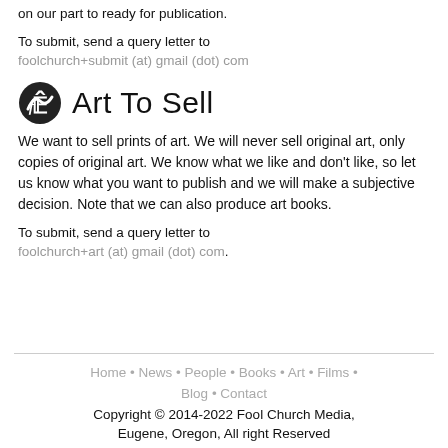on our part to ready for publication.
To submit, send a query letter to foolchurch+submit (at) gmail (dot) com
Art To Sell
We want to sell prints of art. We will never sell original art, only copies of original art. We know what we like and don't like, so let us know what you want to publish and we will make a subjective decision. Note that we can also produce art books.
To submit, send a query letter to foolchurch+art (at) gmail (dot) com.
Home • News • People • Books • Art • Films • Blog • Contact
Copyright © 2014-2022 Fool Church Media, Eugene, Oregon, All right Reserved